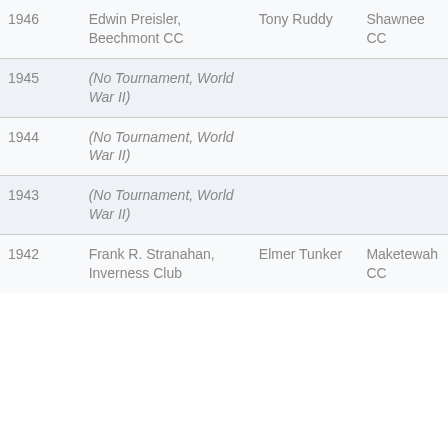| Year | Champion | Runner-up | Site |
| --- | --- | --- | --- |
| 1946 | Edwin Preisler, Beechmont CC | Tony Ruddy | Shawnee CC |
| 1945 | (No Tournament, World War II) |  |  |
| 1944 | (No Tournament, World War II) |  |  |
| 1943 | (No Tournament, World War II) |  |  |
| 1942 | Frank R. Stranahan, Inverness Club | Elmer Tunker | Maketewah CC |